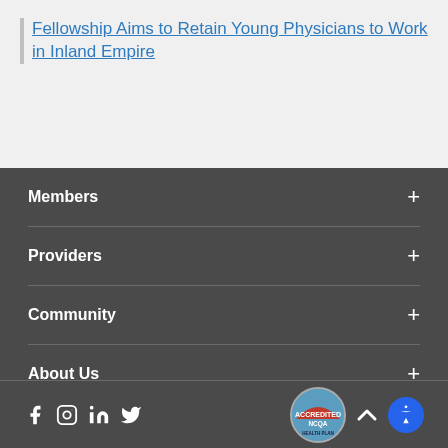Fellowship Aims to Retain Young Physicians to Work in Inland Empire
Members
Providers
Community
About Us
Social icons, NCQA Accredited Health Plan badge, accessibility button